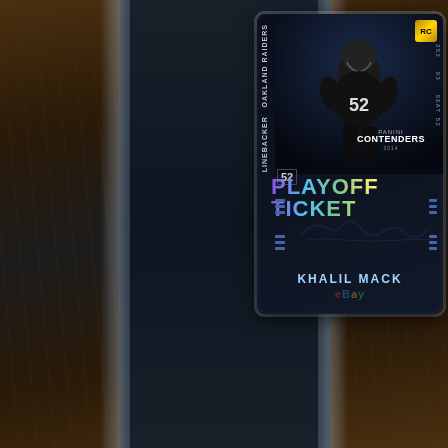[Figure (photo): Panini Contenders 2014 Khalil Mack Rookie Card Playoff Ticket autograph, graded card in protective holder. Card shows Khalil Mack #52 Oakland Raiders linebacker in black uniform. Card reads 'PLAYOFF TICKET' in holographic lettering with Mack's autograph. eBay watermark visible.]
[Figure (photo): PSA graded card slab back/label showing purple PSA authentication label with signature, PSA logo, QR code, barcode with number 45897616, and bottom of Raiders card showing 'No. 224' and 'RAIDERS' text with Raiders logo.]